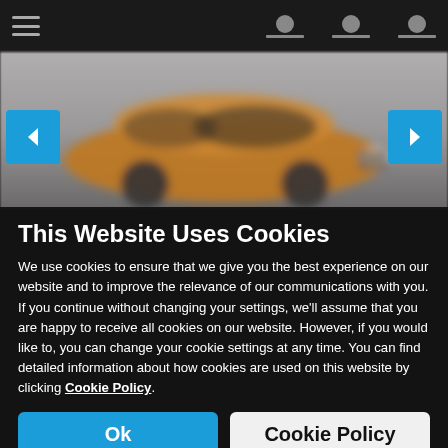[Figure (screenshot): Blurred car website background showing an orange/amber SUV car centered with a grey navigation bar at top, two teal/blue arrow navigation buttons on left and right sides, and a blurred website background.]
This Website Uses Cookies
We use cookies to ensure that we give you the best experience on our website and to improve the relevance of our communications with you. If you continue without changing your settings, we'll assume that you are happy to receive all cookies on our website. However, if you would like to, you can change your cookie settings at any time. You can find detailed information about how cookies are used on this website by clicking Cookie Policy.
Ok
Cookie Policy